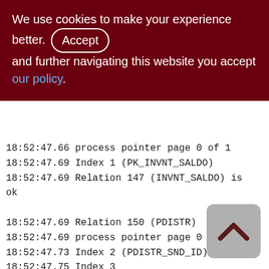We use cookies to make your experience better. By accepting and further navigating this website you accept our policy.
18:52:47.66 process pointer page 0 of 1
18:52:47.69 Index 1 (PK_INVNT_SALDO)
18:52:47.69 Relation 147 (INVNT_SALDO) is ok

18:52:47.69 Relation 150 (PDISTR)
18:52:47.69 process pointer page 0 of 1
18:52:47.73 Index 2 (PDISTR_SND_ID)
18:52:47.75 Index 3 (PDISTR_SNDOP_RCVOP_SNDID_ASC)
18:52:47.76 Index 4 (PDISTR_SNDOP_RCVOP_SNDID_DESC)
18:52:47.76 Index 5 (PDISTR_AGENT_ID)
[Figure (other): Back to top button - a rounded square grey button with a white upward chevron arrow icon]